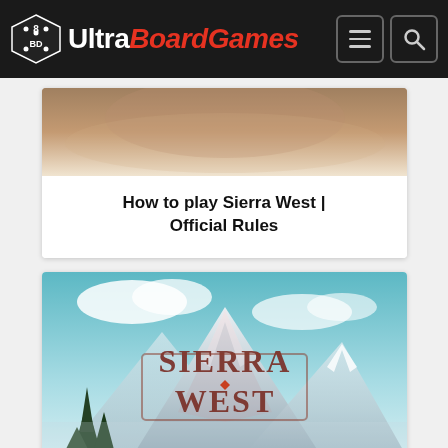UltraBoardGames
[Figure (screenshot): Partial screenshot of a board game card image for Sierra West - How to play]
How to play Sierra West | Official Rules
[Figure (illustration): Sierra West board game box art showing mountain landscape with Sierra West logo text]
Sierra West Cabins